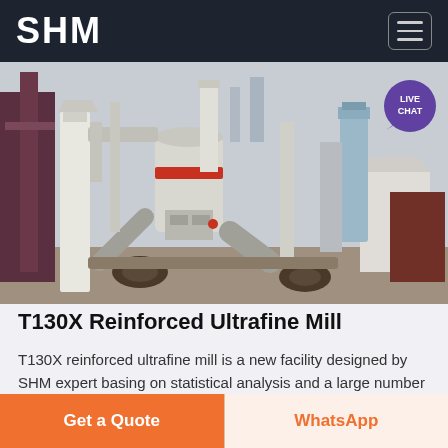SHM
[Figure (photo): Industrial milling machine facility with white cylindrical towers, conveyor belts, pipes, and storage silos in an outdoor industrial setting]
T130X Reinforced Ultrafine Mill
T130X reinforced ultrafine mill is a new facility designed by SHM expert basing on statistical analysis and a large number of suggestions f…